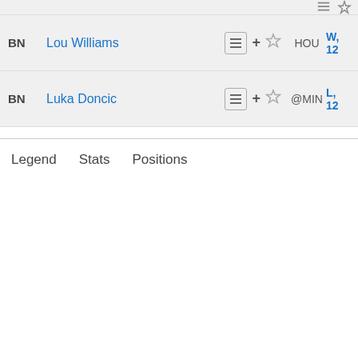| Position | Player | Actions | Team | Result |
| --- | --- | --- | --- | --- |
| BN | Lou Williams | ≡ + ☆ | HOU | W, 12... |
| BN | Luka Doncic | ≡ + ☆ | @MIN | L, 12... |
Legend   Stats   Positions